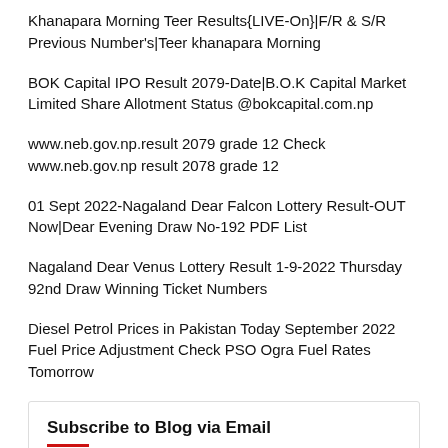Khanapara Morning Teer Results{LIVE-On}|F/R & S/R Previous Number's|Teer khanapara Morning
BOK Capital IPO Result 2079-Date|B.O.K Capital Market Limited Share Allotment Status @bokcapital.com.np
www.neb.gov.np.result 2079 grade 12 Check www.neb.gov.np result 2078 grade 12
01 Sept 2022-Nagaland Dear Falcon Lottery Result-OUT Now|Dear Evening Draw No-192 PDF List
Nagaland Dear Venus Lottery Result 1-9-2022 Thursday 92nd Draw Winning Ticket Numbers
Diesel Petrol Prices in Pakistan Today September 2022 Fuel Price Adjustment Check PSO Ogra Fuel Rates Tomorrow
Subscribe to Blog via Email
Enter your email address to subscribe to this blog and